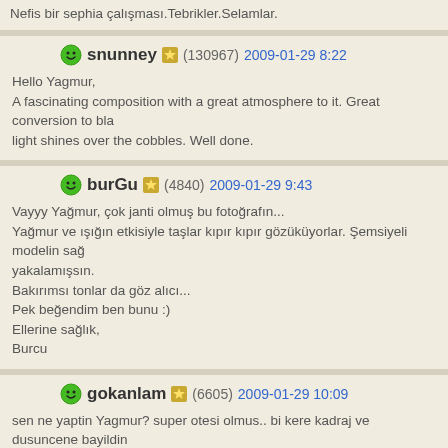Nefis bir sephia çalışması.Tebrikler.Selamlar.
snunney (130967) 2009-01-29 8:22
Hello Yagmur,
A fascinating composition with a great atmosphere to it. Great conversion to bla light shines over the cobbles. Well done.
burGu (4840) 2009-01-29 9:43
Vayyy Yağmur, çok janti olmuş bu fotoğrafın...
Yağmur ve ışığın etkisiyle taşlar kıpır kıpır gözüküyorlar. Şemsiyeli modelin sağ yakalamışsın.
Bakırımsı tonlar da göz alıcı...
Pek beğendim ben bunu :)
Ellerine sağlık,
Burcu
gokanlam (6605) 2009-01-29 10:09
sen ne yaptin Yagmur? super otesi olmus.. bi kere kadraj ve dusuncene bayildin goz alici.. tebrik ki ne tebrik!!
ReLa